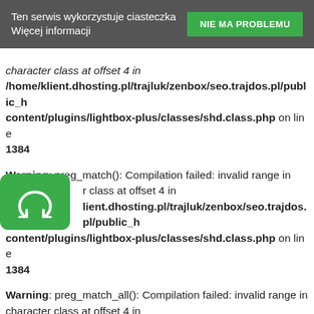Ten serwis wykorzystuje ciasteczka Więcej informacji | NIE MA PROBLEMU
character class at offset 4 in /home/klient.dhosting.pl/trajluk/zenbox/seo.trajdos.pl/public_h content/plugins/lightbox-plus/classes/shd.class.php on line 1384
Warning: preg_match(): Compilation failed: invalid range in character class at offset 4 in /home/klient.dhosting.pl/trajluk/zenbox/seo.trajdos.pl/public_h content/plugins/lightbox-plus/classes/shd.class.php on line 1384
Warning: preg_match_all(): Compilation failed: invalid range in character class at offset 4 in /home/klient.dhosting.pl/trajluk/zenbox/seo.trajdos.pl/public_h content/plugins/lightbox-plus/classes/shd.class.php on line 700
[Figure (logo): Green rounded square icon with a camera/refresh symbol in white]